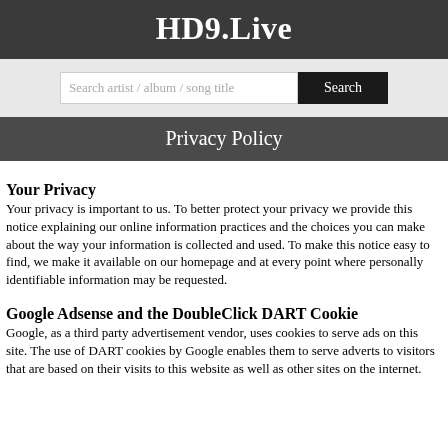HD9.Live
Search artist / album / song title
Privacy Policy
Your Privacy
Your privacy is important to us. To better protect your privacy we provide this notice explaining our online information practices and the choices you can make about the way your information is collected and used. To make this notice easy to find, we make it available on our homepage and at every point where personally identifiable information may be requested.
Google Adsense and the DoubleClick DART Cookie
Google, as a third party advertisement vendor, uses cookies to serve ads on this site. The use of DART cookies by Google enables them to serve adverts to visitors that are based on their visits to this website as well as other sites on the internet.